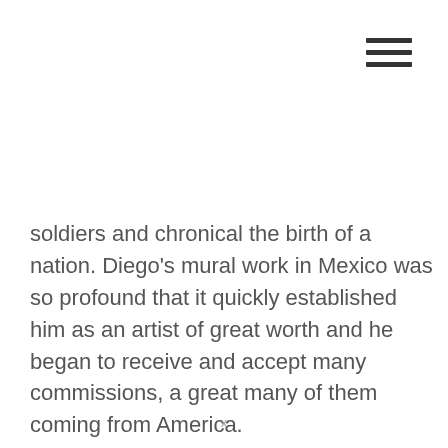[Figure (other): Hamburger menu icon — three horizontal dark bars stacked vertically, positioned in the top right corner]
soldiers and chronical the birth of a nation. Diego's mural work in Mexico was so profound that it quickly established him as an artist of great worth and he began to receive and accept many commissions, a great many of them coming from America.
X